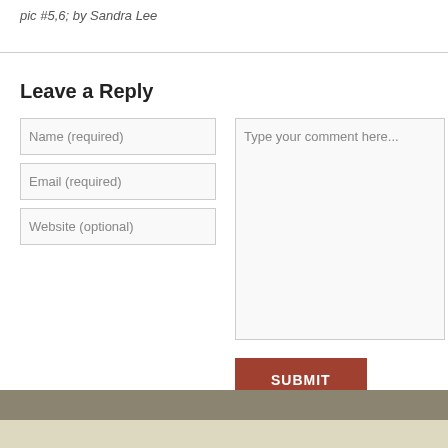pic #5,6; by Sandra Lee
Leave a Reply
Name (required)
Email (required)
Website (optional)
Type your comment here...
SUBMIT